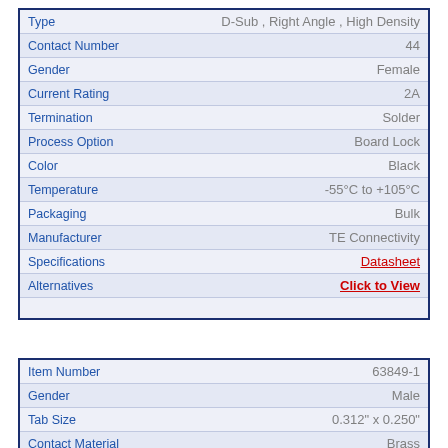| Attribute | Value |
| --- | --- |
| Type | D-Sub , Right Angle , High Density |
| Contact Number | 44 |
| Gender | Female |
| Current Rating | 2A |
| Termination | Solder |
| Process Option | Board Lock |
| Color | Black |
| Temperature | -55°C to +105°C |
| Packaging | Bulk |
| Manufacturer | TE Connectivity |
| Specifications | Datasheet |
| Alternatives | Click to View |
| Attribute | Value |
| --- | --- |
| Item Number | 63849-1 |
| Gender | Male |
| Tab Size | 0.312" x 0.250" |
| Contact Material | Brass |